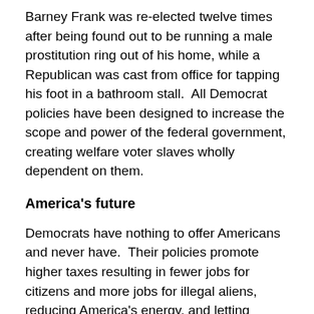Barney Frank was re-elected twelve times after being found out to be running a male prostitution ring out of his home, while a Republican was cast from office for tapping his foot in a bathroom stall.  All Democrat policies have been designed to increase the scope and power of the federal government, creating welfare voter slaves wholly dependent on them.
America's future
Democrats have nothing to offer Americans and never have.  Their policies promote higher taxes resulting in fewer jobs for citizens and more jobs for illegal aliens, reducing America's energy, and letting America's enemies gain power while reducing America's military making the future insecure.  They have fooled the young for generations, and many grew up believing that Democrats